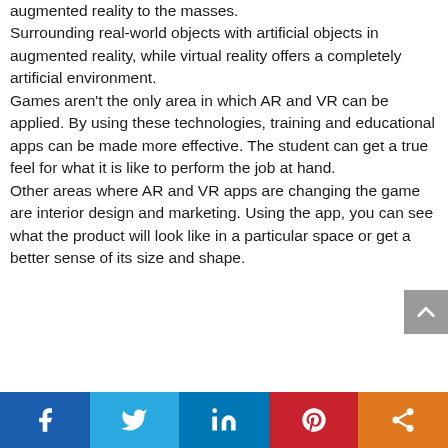augmented reality to the masses. Surrounding real-world objects with artificial objects in augmented reality, while virtual reality offers a completely artificial environment. Games aren't the only area in which AR and VR can be applied. By using these technologies, training and educational apps can be made more effective. The student can get a true feel for what it is like to perform the job at hand. Other areas where AR and VR apps are changing the game are interior design and marketing. Using the app, you can see what the product will look like in a particular space or get a better sense of its size and shape.